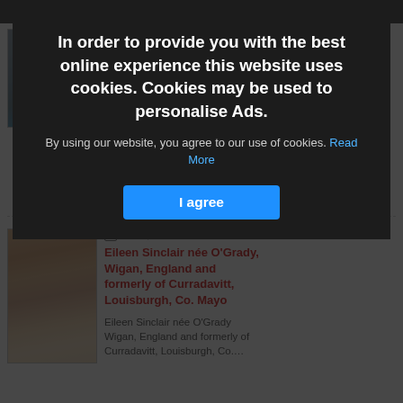[Figure (screenshot): Background webpage showing obituary listings with two entry cards. Top card shows a partially visible photo of a woman in blue and text about Mary Calvey nee Sheridan, The Elms, Westport, Co. Mayo & formerly of Quilca, Virginia. Bottom card shows a photo of a woman and text about Eileen Sinclair née O'Grady, Wigan, England and formerly of Curradavitt, Louisburgh, Co. Mayo, dated Jul 28, 2022.]
In order to provide you with the best online experience this website uses cookies. Cookies may be used to personalise Ads.
By using our website, you agree to our use of cookies. Read More
I agree